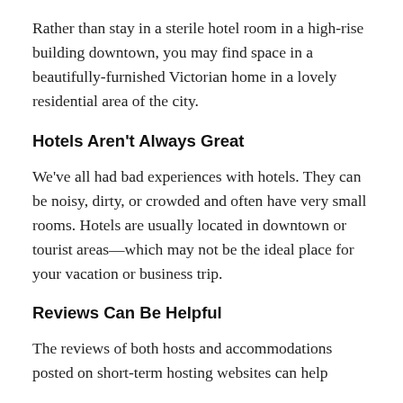Rather than stay in a sterile hotel room in a high-rise building downtown, you may find space in a beautifully-furnished Victorian home in a lovely residential area of the city.
Hotels Aren't Always Great
We've all had bad experiences with hotels. They can be noisy, dirty, or crowded and often have very small rooms. Hotels are usually located in downtown or tourist areas—which may not be the ideal place for your vacation or business trip.
Reviews Can Be Helpful
The reviews of both hosts and accommodations posted on short-term hosting websites can help